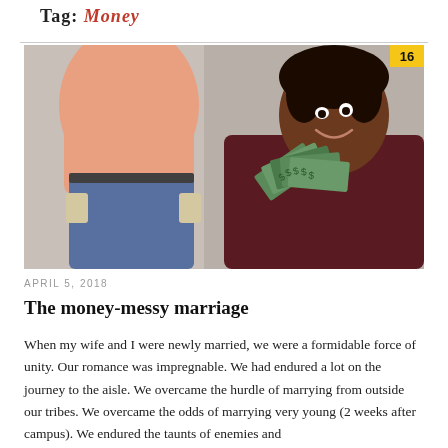Tag: Money
[Figure (photo): A man with empty pockets turned out wearing jeans and a peach shirt, and a smiling woman holding a fan of dollar bills. A yellow badge with '16' appears in the top right corner.]
APRIL 5, 2018
The money-messy marriage
When my wife and I were newly married, we were a formidable force of unity. Our romance was impregnable. We had endured a lot on the journey to the aisle. We overcame the hurdle of marrying from outside our tribes. We overcame the odds of marrying very young (2 weeks after campus). We endured the taunts of enemies and